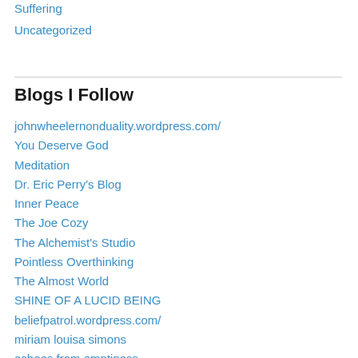Suffering
Uncategorized
Blogs I Follow
johnwheelernonduality.wordpress.com/
You Deserve God
Meditation
Dr. Eric Perry's Blog
Inner Peace
The Joe Cozy
The Alchemist's Studio
Pointless Overthinking
The Almost World
SHINE OF A LUCID BEING
beliefpatrol.wordpress.com/
miriam louisa simons
echoes from emptiness
contentedness.net